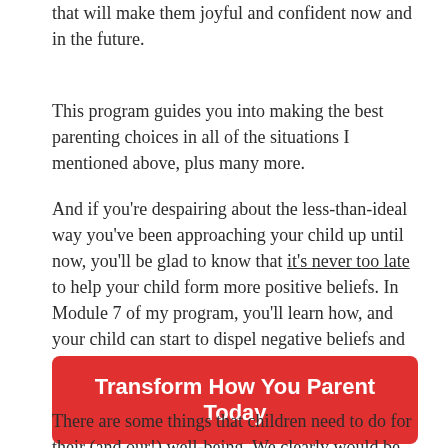that will make them joyful and confident now and in the future.
This program guides you into making the best parenting choices in all of the situations I mentioned above, plus many more.
And if you're despairing about the less-than-ideal way you've been approaching your child up until now, you'll be glad to know that it's never too late to help your child form more positive beliefs. In Module 7 of my program, you'll learn how, and your child can start to dispel negative beliefs and reframe painful situations.
Transform How You Parent Today
There are some things that children need to do for their (and our!) well-being. We clearly would be